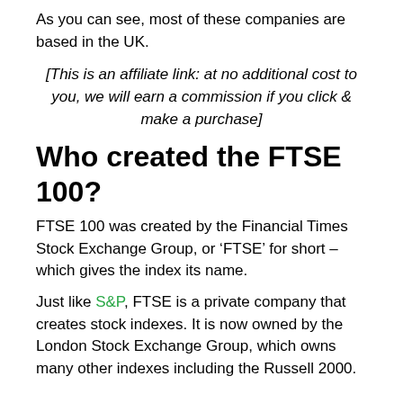As you can see, most of these companies are based in the UK.
[This is an affiliate link: at no additional cost to you, we will earn a commission if you click & make a purchase]
Who created the FTSE 100?
FTSE 100 was created by the Financial Times Stock Exchange Group, or ‘FTSE’ for short – which gives the index its name.
Just like S&P, FTSE is a private company that creates stock indexes. It is now owned by the London Stock Exchange Group, which owns many other indexes including the Russell 2000.